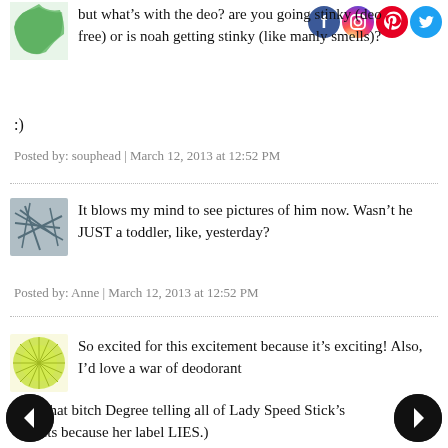[Figure (illustration): Green leaf/feather avatar icon in top left]
[Figure (illustration): Social media icons: Facebook, Instagram, Pinterest, Twitter]
but what's with the deo? are you going stinky (deo free) or is noah getting stinky (like manly smells)?
:)
Posted by: souphead | March 12, 2013 at 12:52 PM
[Figure (illustration): Blue/grey scribble lines avatar icon]
It blows my mind to see pictures of him now. Wasn't he JUST a toddler, like, yesterday?
Posted by: Anne | March 12, 2013 at 12:52 PM
[Figure (illustration): Green/yellow starburst avatar icon]
So excited for this excitement because it's exciting! Also, I'd love a war of deodorant (like that bitch Degree telling all of Lady Speed Stick's Secrets because her label LIES.)
[Figure (illustration): Left navigation arrow (back)]
[Figure (illustration): Right navigation arrow (forward)]